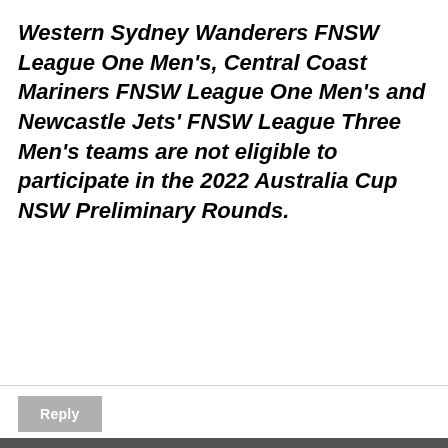Western Sydney Wanderers FNSW League One Men's, Central Coast Mariners FNSW League One Men's and Newcastle Jets' FNSW League Three Men's teams are not eligible to participate in the 2022 Australia Cup NSW Preliminary Rounds.
Reply
By using our site you accept that we use and share cookies and similar technologies to perform analytics and provide content and ads tailored to your interests. By continuing to use our site, you consent to this. Please see our Cookie Policy for more information.
Accept